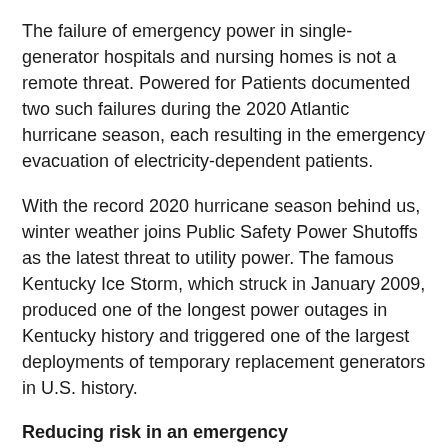The failure of emergency power in single-generator hospitals and nursing homes is not a remote threat. Powered for Patients documented two such failures during the 2020 Atlantic hurricane season, each resulting in the emergency evacuation of electricity-dependent patients.
With the record 2020 hurricane season behind us, winter weather joins Public Safety Power Shutoffs as the latest threat to utility power. The famous Kentucky Ice Storm, which struck in January 2009, produced one of the longest power outages in Kentucky history and triggered one of the largest deployments of temporary replacement generators in U.S. history.
Reducing risk in an emergency
Thanks to a technology investment made in 2018 by the Department of Homeland Security, a new tool recently become available that can dramatically change the outcome for patients in single-generator facilities that face threats to